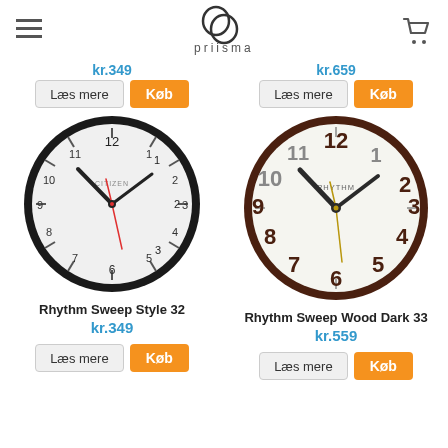priisma
kr.349
Læs mere  Køb
kr.659
Læs mere  Køb
[Figure (photo): Rhythm Sweep Style 32 wall clock with black frame, white face, minimal numerals, showing approximately 10:10]
Rhythm Sweep Style 32
kr.349
Læs mere  Køb
[Figure (photo): Rhythm Sweep Wood Dark 33 wall clock with dark brown wooden frame, white face, large brown numerals, showing approximately 10:10]
Rhythm Sweep Wood Dark 33
kr.559
Læs mere  Køb